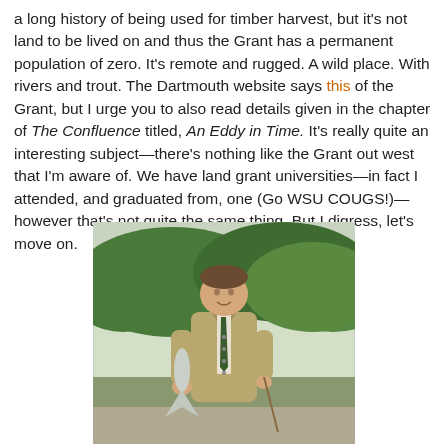a long history of being used for timber harvest, but it's not land to be lived on and thus the Grant has a permanent population of zero. It's remote and rugged. A wild place. With rivers and trout. The Dartmouth website says this of the Grant, but I urge you to also read details given in the chapter of The Confluence titled, An Eddy in Time. It's really quite an interesting subject—there's nothing like the Grant out west that I'm aware of. We have land grant universities—in fact I attended, and graduated from, one (Go WSU COUGS!)—however that's not quite the same thing. But I digress, let's move on.
[Figure (photo): A man in a tan/khaki tweed blazer and green tie standing outdoors, holding what appears to be a large fish. Behind him are wooded green hills and a rocky riverbank.]